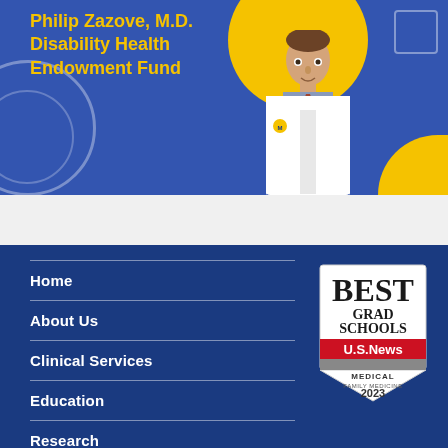[Figure (illustration): Blue banner with a doctor in white coat, yellow text reading 'Philip Zazove, M.D. Disability Health Endowment Fund', yellow circle behind doctor, decorative shapes]
Home
About Us
Clinical Services
Education
Research
Programs
[Figure (logo): US News Best Grad Schools badge - Medical Family Medicine 2023]